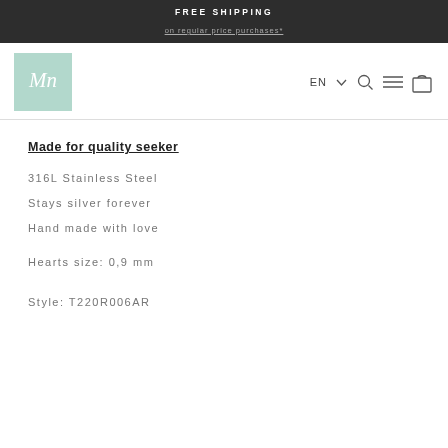FREE SHIPPING
on regular price purchases*
[Figure (logo): Mint green square logo with cursive letter M in white]
Made for quality seeker
316L Stainless Steel
Stays silver forever
Hand made with love
Hearts size: 0,9 mm
Style: T220R006AR